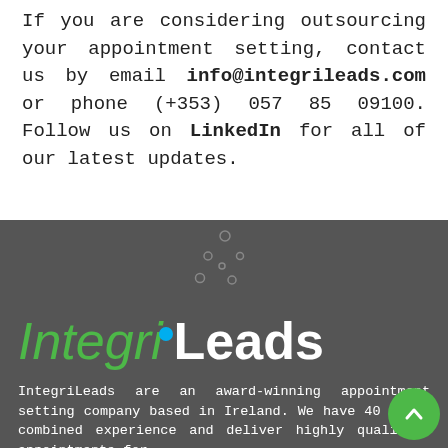If you are considering outsourcing your appointment setting, contact us by email info@integrileads.com or phone (+353) 057 85 09100. Follow us on LinkedIn for all of our latest updates.
[Figure (logo): IntegriLeads logo: 'Integri' in green italic and 'Leads' in bold white, with a small blue circle dot above the 'i' in Integri, on dark grey background. Decorative dots pattern above logo.]
IntegriLeads are an award-winning appointment setting company based in Ireland. We have 40 years combined experience and deliver highly qualified appointments for